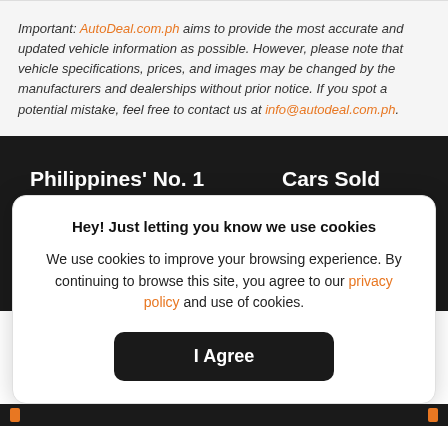Important: AutoDeal.com.ph aims to provide the most accurate and updated vehicle information as possible. However, please note that vehicle specifications, prices, and images may be changed by the manufacturers and dealerships without prior notice. If you spot a potential mistake, feel free to contact us at info@autodeal.com.ph.
Philippines' No. 1
Automotive
Cars Sold
Everyday
Hey! Just letting you know we use cookies

We use cookies to improve your browsing experience. By continuing to browse this site, you agree to our privacy policy and use of cookies.

I Agree